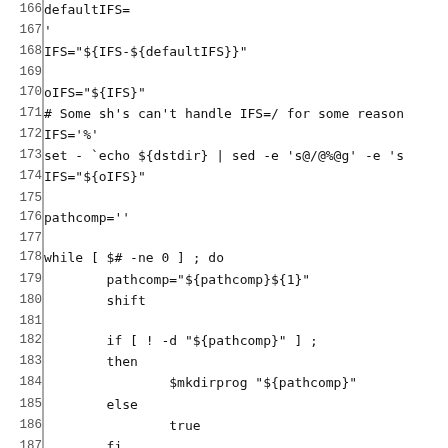[Figure (other): Shell script source code lines 166-196, showing IFS manipulation, pathcomp loop, and directory argument check]